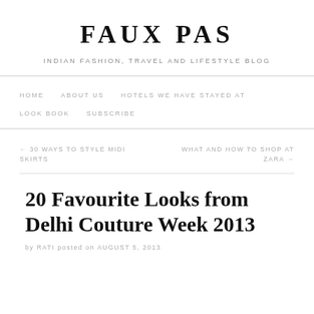FAUX PAS
INDIAN FASHION, TRAVEL AND LIFESTYLE BLOG
HOME   ABOUT US   HOTELS WE HAVE STAYED AT   LOOK BOOK   SUBSCRIBE
← 30 WAYS TO STYLE MIDI SKIRTS   WHAT AND HOW TO SHOP AT ZARA →
20 Favourite Looks from Delhi Couture Week 2013
by RATI posted on AUGUST 5, 2013